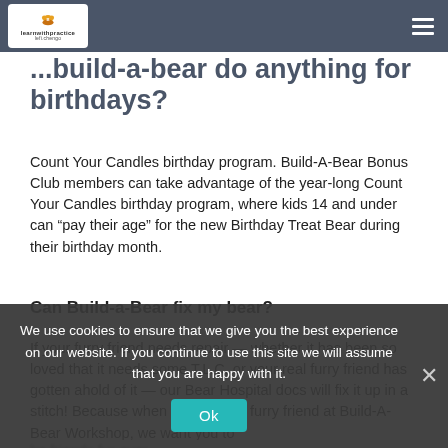learnwithpractice | Build-A-Bear FAQ
...build-a-bear do anything for birthdays?
Count Your Candles birthday program. Build-A-Bear Bonus Club members can take advantage of the year-long Count Your Candles birthday program, where kids 14 and under can “pay their age” for the new Birthday Treat Bear during their birthday month.
Can Build-a-Bear fix my bear?
If your furry friend needs repair — whether it has been so loved that it needs some T.L.C. or your real furry friend has gotten ahold of it — our Bear Hospital docs will fix it up in a stitch! Because when you make a furry friend at Build-A-Bear Workshop, we want you to be friends fur-ever.
Does build-a-bear still have Stuffimals?
Yes, please add me to the Build-A-Bear email list to find out about this release, Build-A-Bear special promotions, fun events, and
We use cookies to ensure that we give you the best experience on our website. If you continue to use this site we will assume that you are happy with it.